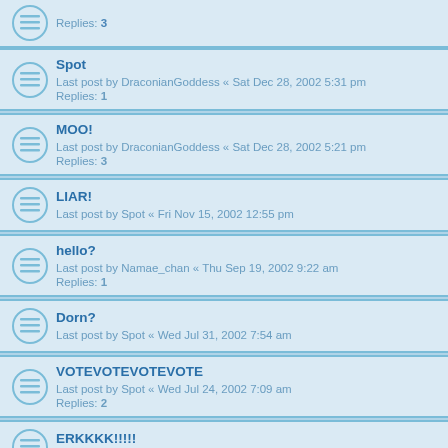Replies: 3
Spot
Last post by DraconianGoddess « Sat Dec 28, 2002 5:31 pm
Replies: 1
MOO!
Last post by DraconianGoddess « Sat Dec 28, 2002 5:21 pm
Replies: 3
LIAR!
Last post by Spot « Fri Nov 15, 2002 12:55 pm
hello?
Last post by Namae_chan « Thu Sep 19, 2002 9:22 am
Replies: 1
Dorn?
Last post by Spot « Wed Jul 31, 2002 7:54 am
VOTEVOTEVOTEVOTE
Last post by Spot « Wed Jul 24, 2002 7:09 am
Replies: 2
ERKKKK!!!!!
Last post by Spot « Sun Jul 07, 2002 1:43 pm
eek!
Last post by MinnieMay9 « Wed Jul 03, 2002 3:22 pm
Replies: 1
I'm gunna begin with the bigeyed man every day!
Last post by Spot « Wed Jul 03, 2002 7:35 am